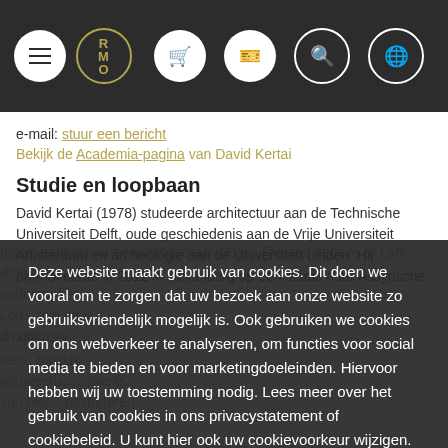RMO museum website header with navigation icons
e-mail: stuur een bericht
Bekijk de Academia-pagina van David Kertai
Studie en loopbaan
David Kertai (1978) studeerde architectuur aan de Technische Universiteit Delft, oude geschiedenis aan de Vrije Universiteit Amsterdam en archeologie aan de Universiteit Leiden. Hij promoveerde in 2012 in Heidelberg op een studie naar Assyrische paleisarchitectuur en koningschap (2015, The architecture of Late Assyrian Royal Palaces). Sindsdien is hij als onderzoeker verbonden aan verschillende universiteiten, waaronder de Universiteit Leiden, Columbia University in New York en is dit ook verbonden aan het Oriental Institute in Chicago.
Deze website maakt gebruik van cookies. Dit doen we vooral om te zorgen dat uw bezoek aan onze website zo gebruiksvriendelijk mogelijk is. Ook gebruiken we cookies om ons webverkeer te analyseren, om functies voor social media te bieden en voor marketingdoeleinden. Hiervoor hebben wij uw toestemming nodig. Lees meer over het gebruik van cookies in ons privacystatement of cookiebeleid. U kunt hier ook uw cookievoorkeur wijzigen.